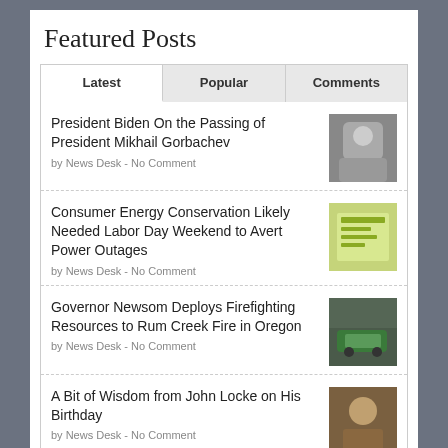Featured Posts
Latest
Popular
Comments
President Biden On the Passing of President Mikhail Gorbachev
by News Desk - No Comment
Consumer Energy Conservation Likely Needed Labor Day Weekend to Avert Power Outages
by News Desk - No Comment
Governor Newsom Deploys Firefighting Resources to Rum Creek Fire in Oregon
by News Desk - No Comment
A Bit of Wisdom from John Locke on His Birthday
by News Desk - No Comment
Traffic Update….Vehicle vs Tree Hit & Run Head